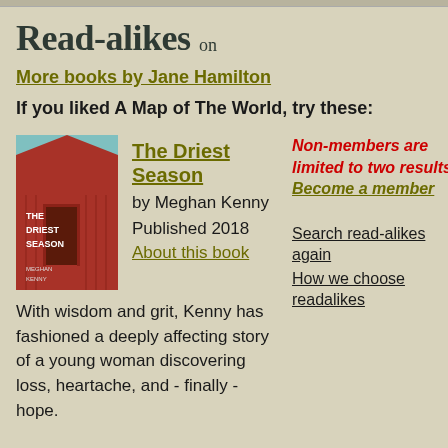Read-alikes on
More books by Jane Hamilton
If you liked A Map of The World, try these:
[Figure (photo): Book cover of The Driest Season by Meghan Kenny showing a red barn/house exterior with a door]
The Driest Season
by Meghan Kenny
Published 2018
About this book
Non-members are limited to two results. Become a member
With wisdom and grit, Kenny has fashioned a deeply affecting story of a young woman discovering loss, heartache, and - finally - hope.
Search read-alikes again
How we choose readalikes